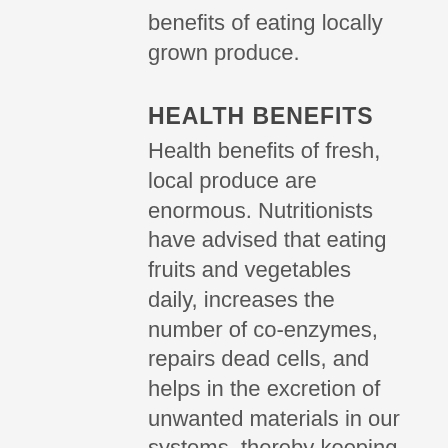benefits of eating locally grown produce.
HEALTH BENEFITS
Health benefits of fresh, local produce are enormous. Nutritionists have advised that eating fruits and vegetables daily, increases the number of co-enzymes, repairs dead cells, and helps in the excretion of unwanted materials in our systems, thereby keeping us healthy. Fruits and vegetables produced locally are free from additives and have more vitamins, minerals, and even sugars, due to the time between harvest and eating. Eating fresh local produce also improves body